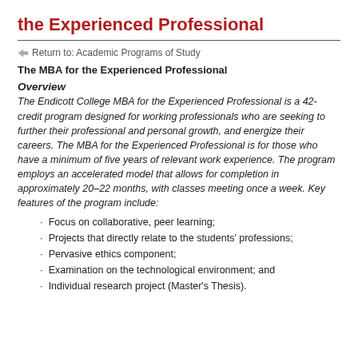the Experienced Professional
Return to: Academic Programs of Study
The MBA for the Experienced Professional
Overview
The Endicott College MBA for the Experienced Professional is a 42-credit program designed for working professionals who are seeking to further their professional and personal growth, and energize their careers. The MBA for the Experienced Professional is for those who have a minimum of five years of relevant work experience. The program employs an accelerated model that allows for completion in approximately 20–22 months, with classes meeting once a week. Key features of the program include:
Focus on collaborative, peer learning;
Projects that directly relate to the students' professions;
Pervasive ethics component;
Examination on the technological environment; and
Individual research project (Master's Thesis).